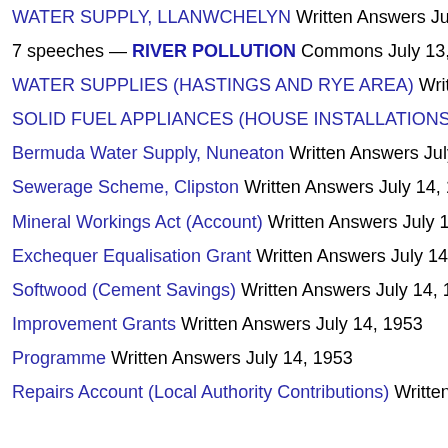WATER SUPPLY, LLANWCHELYN Written Answers July 10,
7 speeches — RIVER POLLUTION Commons July 13, 1953
WATER SUPPLIES (HASTINGS AND RYE AREA) Written Answers
SOLID FUEL APPLIANCES (HOUSE INSTALLATIONS) Written
Bermuda Water Supply, Nuneaton Written Answers July 14, 19
Sewerage Scheme, Clipston Written Answers July 14, 1953
Mineral Workings Act (Account) Written Answers July 14, 1953
Exchequer Equalisation Grant Written Answers July 14, 1953
Softwood (Cement Savings) Written Answers July 14, 1953
Improvement Grants Written Answers July 14, 1953
Programme Written Answers July 14, 1953
Repairs Account (Local Authority Contributions) Written Answers